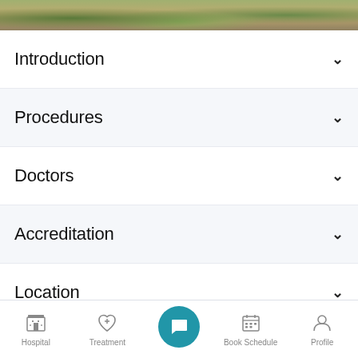[Figure (photo): Landscape photo at top of page showing trees and natural scenery]
Introduction
Procedures
Doctors
Accreditation
Location
Hospital  Treatment  [Chat]  Book Schedule  Profile